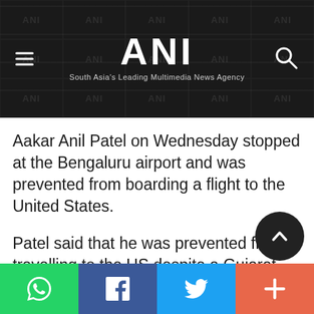ANI — South Asia's Leading Multimedia News Agency
Aakar Anil Patel on Wednesday stopped at the Bengaluru airport and was prevented from boarding a flight to the United States.
Patel said that he was prevented from travelling to the US despite a Gujarat court order granting him permission "specifically" for the said trip.
The former chief of Amnesty International India took to Twitter
Social share buttons: WhatsApp, Facebook, Twitter, More